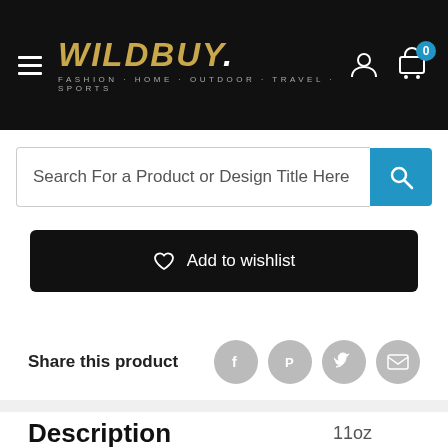[Figure (screenshot): WildBuy website header with logo, hamburger menu, user and cart icons on black background]
Search For a Product or Design Title Here
Add to wishlist
Share this product
Description
11oz